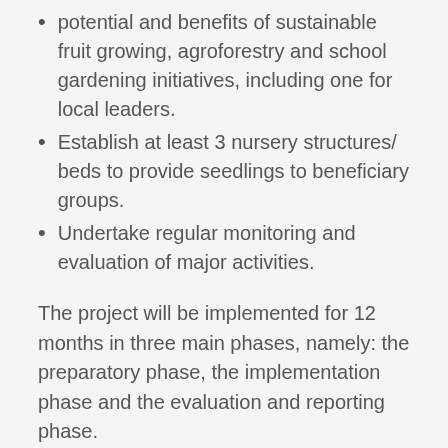potential and benefits of sustainable fruit growing, agroforestry and school gardening initiatives, including one for local leaders.
Establish at least 3 nursery structures/ beds to provide seedlings to beneficiary groups.
Undertake regular monitoring and evaluation of major activities.
The project will be implemented for 12 months in three main phases, namely: the preparatory phase, the implementation phase and the evaluation and reporting phase.
The preparatory phase (1-2 months) will involve establishment of the project steering committee, recruitment of the project staff, procurement of project equipment, and school/community mobilization and initial awareness-raising.